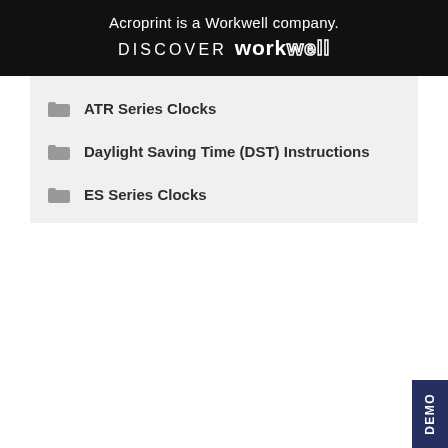Acroprint is a Workwell company. DISCOVER workwell
ATR Series Clocks
Daylight Saving Time (DST) Instructions
ES Series Clocks